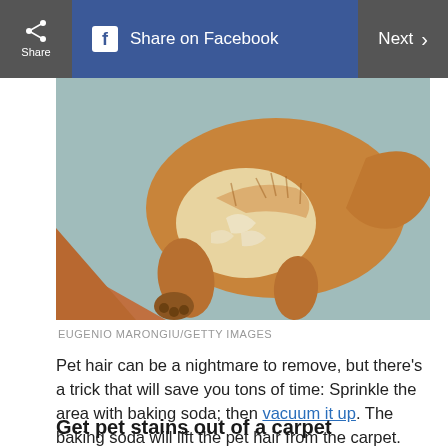Share | Share on Facebook | Next >
[Figure (photo): A golden retriever dog lying on a blue/grey carpet, viewed from above. The dog's tail and hind legs are visible. The carpet transitions to a wood floor at the lower left.]
EUGENIO MARONGIU/GETTY IMAGES
Pet hair can be a nightmare to remove, but there’s a trick that will save you tons of time: Sprinkle the area with baking soda; then vacuum it up. The baking soda will lift the pet hair from the carpet.
Get pet stains out of a carpet